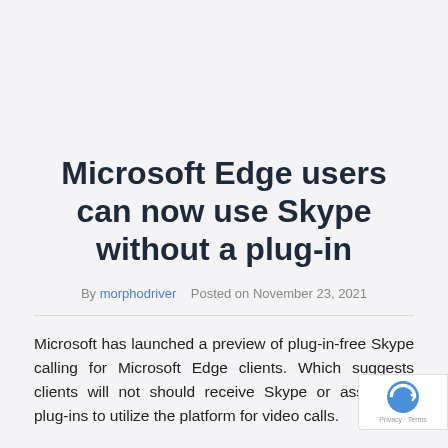Microsoft Edge users can now use Skype without a plug-in
By morphodriver   Posted on November 23, 2021
Microsoft has launched a preview of plug-in-free Skype calling for Microsoft Edge clients. Which suggests clients will not should receive Skype or associated plug-ins to utilize the platform for video calls.
The perform shall be on the market in Skype for Web,